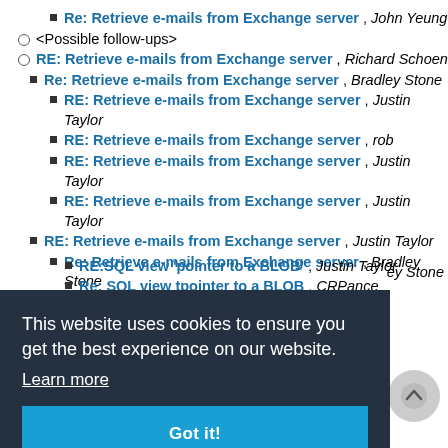Re: Retrieve e-mails from Exchange server , John Yeung
<Possible follow-ups>
RE: Retrieve e-mails from Exchange server , Richard Schoen
Re: Retrieve e-mails from Exchange server , Bradley Stone
RE: Retrieve e-mails from Exchange server , Justin Taylor
RE: Retrieve e-mails from Exchange server , rob
RE: Retrieve e-mails from Exchange server , Justin Taylor
RE: Retrieve e-mails from Exchange server , Justin Taylor
RE: Retrieve e-mails from Exchange server , Justin Taylor
Re: Retrieve e-mails from Exchange server , Bradley Stone
Re: Retrieve e-mails from Exchange server , rob
Re: Retrieve e-mails from Exchange server , Tim Bronski
This website uses cookies to ensure you get the best experience on our website. Learn more
RE:SQL view 'pointer to a BLOB' , Justin Taylor
Re: SQL view tpointer to a BLOB , CRPance